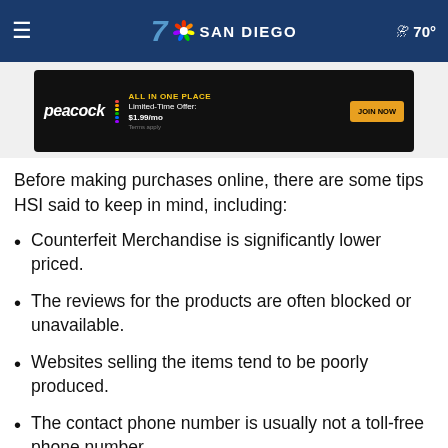7 SAN DIEGO — 70°
[Figure (screenshot): Peacock streaming service advertisement banner: 'ALL IN ONE PLACE — Limited-Time Offer: $1.99/mo — JOIN NOW — Terms apply']
Before making purchases online, there are some tips HSI said to keep in mind, including:
Counterfeit Merchandise is significantly lower priced.
The reviews for the products are often blocked or unavailable.
Websites selling the items tend to be poorly produced.
The contact phone number is usually not a toll-free phone number.
Your payment will be sent to an unfamiliar outside processor.